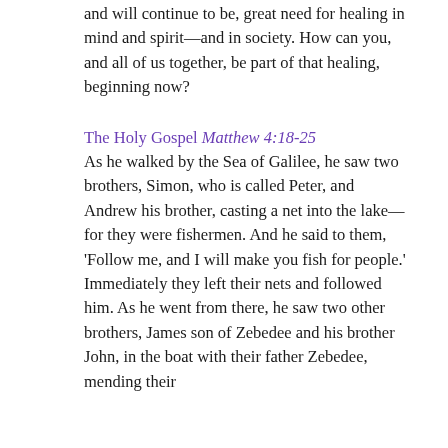and will continue to be, great need for healing in mind and spirit—and in society. How can you, and all of us together, be part of that healing, beginning now?
The Holy Gospel Matthew 4:18-25
As he walked by the Sea of Galilee, he saw two brothers, Simon, who is called Peter, and Andrew his brother, casting a net into the lake—for they were fishermen. And he said to them, 'Follow me, and I will make you fish for people.' Immediately they left their nets and followed him. As he went from there, he saw two other brothers, James son of Zebedee and his brother John, in the boat with their father Zebedee, mending their